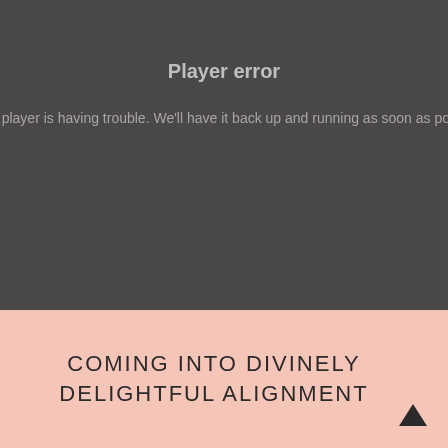Player error
e player is having trouble. We'll have it back up and running as soon as possi
COMING INTO DIVINELY DELIGHTFUL ALIGNMENT